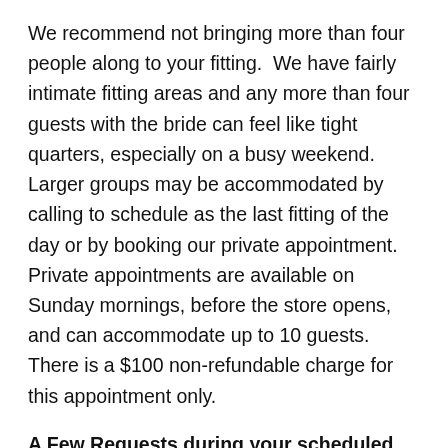We recommend not bringing more than four people along to your fitting.  We have fairly intimate fitting areas and any more than four guests with the bride can feel like tight quarters, especially on a busy weekend. Larger groups may be accommodated by calling to schedule as the last fitting of the day or by booking our private appointment. Private appointments are available on Sunday mornings, before the store opens, and can accommodate up to 10 guests.  There is a $100 non-refundable charge for this appointment only.
A Few Requests during your scheduled fitting.